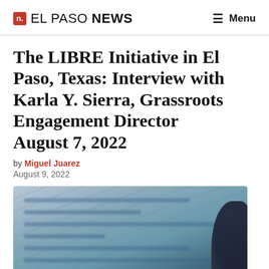n. EL PASO NEWS  ≡ Menu
The LIBRE Initiative in El Paso, Texas: Interview with Karla Y. Sierra, Grassroots Engagement Director
August 7, 2022
by Miguel Juarez
August 9, 2022
[Figure (photo): Blurred close-up photo of a document with handwritten or typed text and a dark pen/object on the right side, tinted blue/grey]